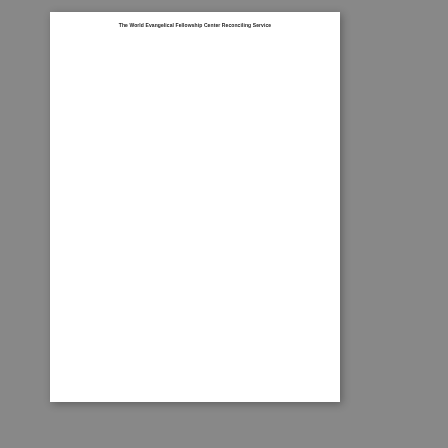The World Evangelical Fellowship Center Reconciling Service